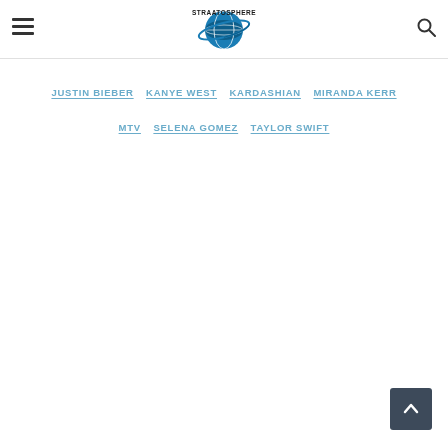STRAATOSPHERE
JUSTIN BIEBER
KANYE WEST
KARDASHIAN
MIRANDA KERR
MTV
SELENA GOMEZ
TAYLOR SWIFT